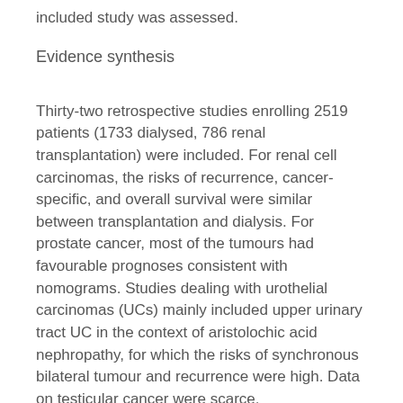included study was assessed.
Evidence synthesis
Thirty-two retrospective studies enrolling 2519 patients (1733 dialysed, 786 renal transplantation) were included. For renal cell carcinomas, the risks of recurrence, cancer-specific, and overall survival were similar between transplantation and dialysis. For prostate cancer, most of the tumours had favourable prognoses consistent with nomograms. Studies dealing with urothelial carcinomas (UCs) mainly included upper urinary tract UC in the context of aristolochic acid nephropathy, for which the risks of synchronous bilateral tumour and recurrence were high. Data on testicular cancer were scarce.
Conclusions